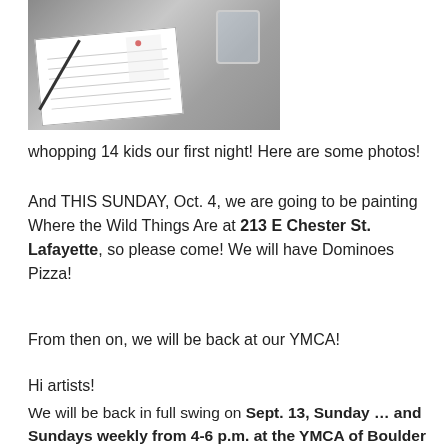[Figure (photo): Photo of an open notebook with a pen on top, and a glass of water in the upper right, on a table. Someone is partially visible in the background.]
whopping 14 kids our first night! Here are some photos!
And THIS SUNDAY, Oct. 4, we are going to be painting Where the Wild Things Are at 213 E Chester St. Lafayette, so please come! We will have Dominoes Pizza!
From then on, we will be back at our YMCA!
Hi artists!
We will be back in full swing on Sept. 13, Sunday … and Sundays weekly from 4-6 p.m. at the YMCA of Boulder Valley! (10 weeks but No session Nov. 1)
Our first session is recycled art, so please be collecting whatever you would like to create out of recyclables and objects